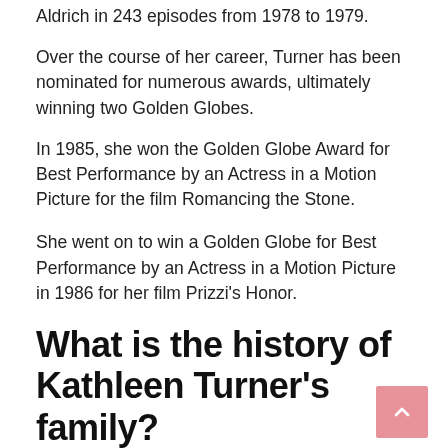Aldrich in 243 episodes from 1978 to 1979.
Over the course of her career, Turner has been nominated for numerous awards, ultimately winning two Golden Globes.
In 1985, she won the Golden Globe Award for Best Performance by an Actress in a Motion Picture for the film Romancing the Stone.
She went on to win a Golden Globe for Best Performance by an Actress in a Motion Picture in 1986 for her film Prizzi's Honor.
What is the history of Kathleen Turner’s family?
Native Missouri, Kathleen Turner, whose birth name is Mary Kathleen Turner, is the only one of her four siblings to be born in the United States.
His father, Allen Richard Turner, was an American foreign